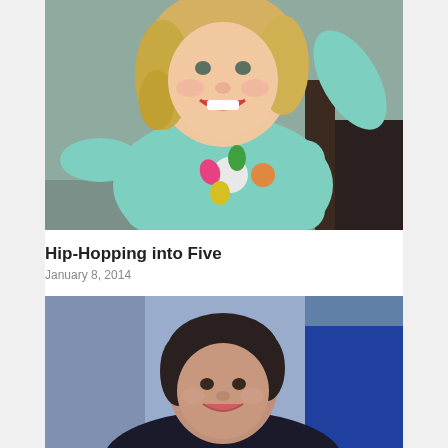[Figure (photo): Young blonde girl smiling, wearing a teal/mint long-sleeve shirt with flower decorations (pink, orange, green, white flowers), arm raised]
Hip-Hopping into Five
January 8, 2014
[Figure (photo): Adult woman with short dark hair smiling, wearing dark clothing, appears to be in a TV studio setting with blue background]